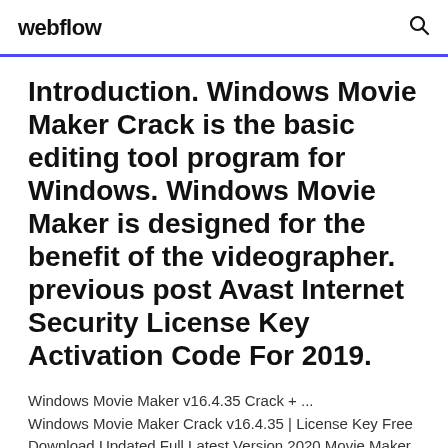webflow
Introduction. Windows Movie Maker Crack is the basic editing tool program for Windows. Windows Movie Maker is designed for the benefit of the videographer. previous post Avast Internet Security License Key Activation Code For 2019.
Windows Movie Maker v16.4.35 Crack + ... Windows Movie Maker Crack v16.4.35 | License Key Free Download Updated Full Latest Version 2020 Movie Maker Full Version is a wonderful